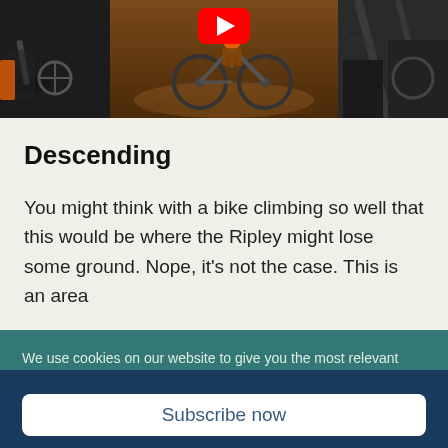[Figure (screenshot): Three-panel video thumbnail showing bicycle riding scenes with a YouTube play button overlay in the center panel]
Descending
You might think with a bike climbing so well that this would be where the Ripley might lose some ground. Nope, it's not the case. This is an area
We use cookies on our website to give you the most relevant experience by remembering your preferences and repeat visits. By clicking “Accept All”, you consent to the use of ALL
Keep up with the latest Crankjoy News
Subscribe now